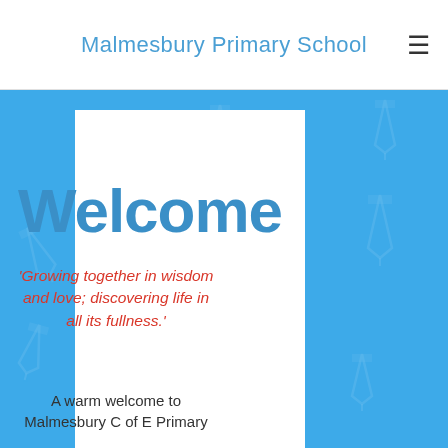Malmesbury Primary School
Welcome
'Growing together in wisdom and love; discovering life in all its fullness.'
A warm welcome to Malmesbury C of E Primary